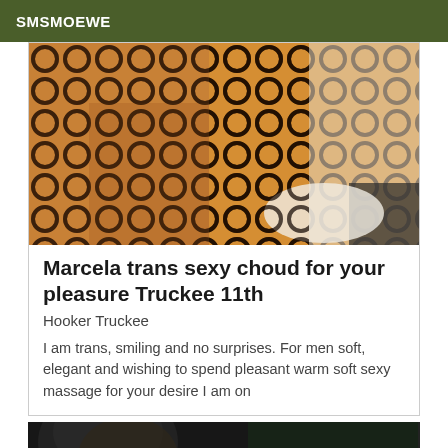SMSMOEWE
[Figure (photo): Photo of a person wearing fishnet stockings/bodysuit posing against an orange/yellow background]
Marcela trans sexy choud for your pleasure Truckee 11th
Hooker Truckee
I am trans, smiling and no surprises. For men soft, elegant and wishing to spend pleasant warm soft sexy massage for your desire I am on
[Figure (photo): Partial photo of a person with dark hair against a dark background, with a VIP badge in the corner]